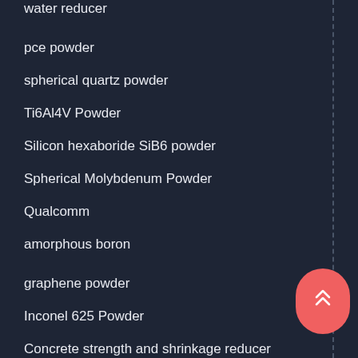water reducer
pce powder
spherical quartz powder
Ti6Al4V Powder
Silicon hexaboride SiB6 powder
Spherical Molybdenum Powder
Qualcomm
amorphous boron
graphene powder
Inconel 625 Powder
Concrete strength and shrinkage reducer
graphite powder
PVA Fiber